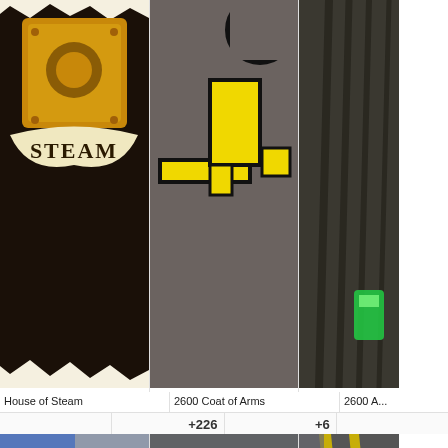[Figure (illustration): House of Steam heraldic crest design on dark brown background with golden shield and STEAM banner]
[Figure (illustration): 2600 Coat of Arms design with yellow pixel-art hammer on grey background]
[Figure (illustration): 2600 design partially visible, dark background with green element]
House of Steam
2600 Coat of Arms
2600 A...
[Figure (illustration): Don't Panic hitchhiker's guide themed design with dolphin, thumbs up and gothic text on blue/grey checkered background, badge +226]
[Figure (illustration): Grey circular coin/medallion with golden flame outline design, badge +6]
[Figure (illustration): Yellow and grey striped geometric design partially visible]